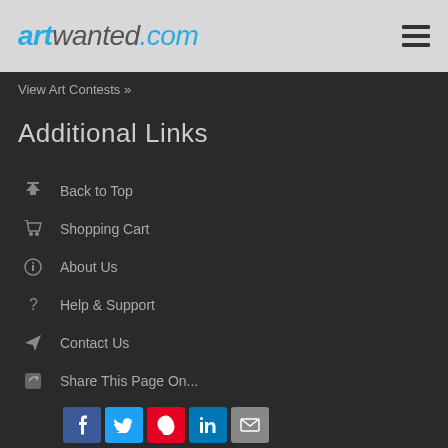artwanted.com
View Art Contests »
Additional Links
Back to Top
Shopping Cart
About Us
Help & Support
Contact Us
Share This Page On...